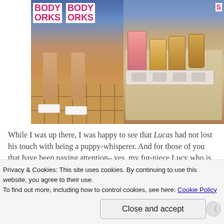[Figure (photo): Left half: Two people wearing blue plaid shirts with 'BODY WORKS' branding in pink text, showing lower body with legs and white shoes on tile floor. Right half: A counter with a pink drink and several orange/amber drinks in plastic cups on a tray.]
While I was up there, I was happy to see that Lucas had not lost his touch with being a puppy-whisperer. And for those of you that have been paying attention– yes, my fur-niece Lucy who is a goldendoodle, when from a dark
Privacy & Cookies: This site uses cookies. By continuing to use this website, you agree to their use.
To find out more, including how to control cookies, see here: Cookie Policy
Close and accept